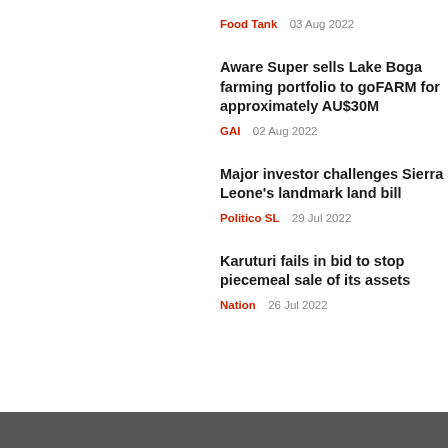Food Tank   03 Aug 2022
Aware Super sells Lake Boga farming portfolio to goFARM for approximately AU$30M
GAI   02 Aug 2022
Major investor challenges Sierra Leone's landmark land bill
Politico SL   29 Jul 2022
Karuturi fails in bid to stop piecemeal sale of its assets
Nation   26 Jul 2022